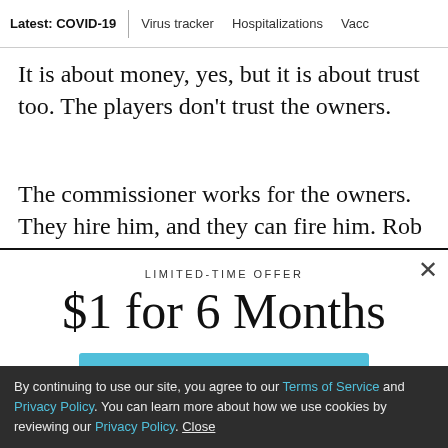Latest: COVID-19 | Virus tracker | Hospitalizations | Vacci
It is about money, yes, but it is about trust too. The players don't trust the owners.
The commissioner works for the owners. They hire him, and they can fire him. Rob Manfred, the current
LIMITED-TIME OFFER
$1 for 6 Months
SUBSCRIBE NOW
By continuing to use our site, you agree to our Terms of Service and Privacy Policy. You can learn more about how we use cookies by reviewing our Privacy Policy. Close